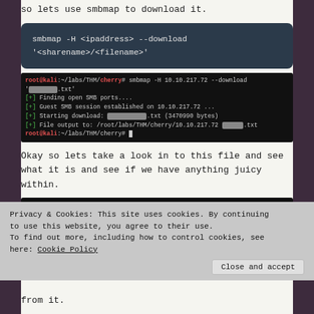so lets use smbmap to download it.
[Figure (screenshot): Dark code block showing smbmap command: smbmap -H <ipaddress> --download '<sharename>/<filename>']
[Figure (screenshot): Terminal screenshot showing smbmap command execution with blurred filename, finding open SMB ports, guest SMB session on 10.10.217.72, starting download, file output to /root/labs/THM/cherry/10.10.217.72]
Okay so lets take a look in to this file and see what it is and see if we have anything juicy within.
[Figure (screenshot): Terminal screenshot showing 'head filefromshare.txt' command with base64 encoded content output]
Privacy & Cookies: This site uses cookies. By continuing to use this website, you agree to their use. To find out more, including how to control cookies, see here: Cookie Policy
from it.